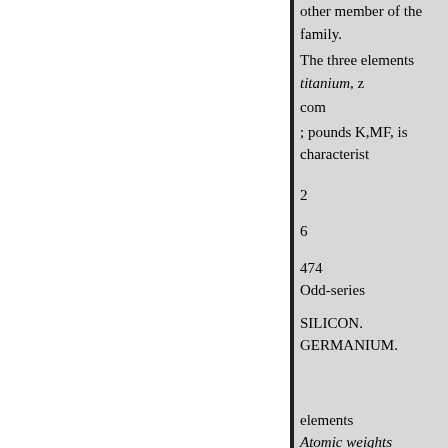other member of the family.
The three elements titanium, z
com
; pounds K,MF, is characterist
2
6
474
Odd-series
SILICON.
GERMANIUM.
elements
Atomic weights
28.3
72.3